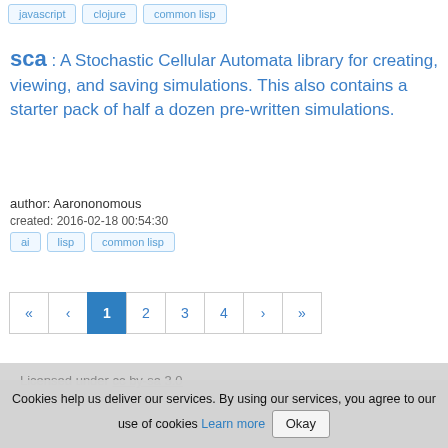javascript   clojure   common lisp
sca : A Stochastic Cellular Automata library for creating, viewing, and saving simulations. This also contains a starter pack of half a dozen pre-written simulations.
author: Aarononomous
created: 2016-02-18 00:54:30
ai   lisp   common lisp
« ‹ 1 2 3 4 › »
Licensed under cc by-sa 3.0
Cookies help us deliver our services. By using our services, you agree to our use of cookies Learn more Okay